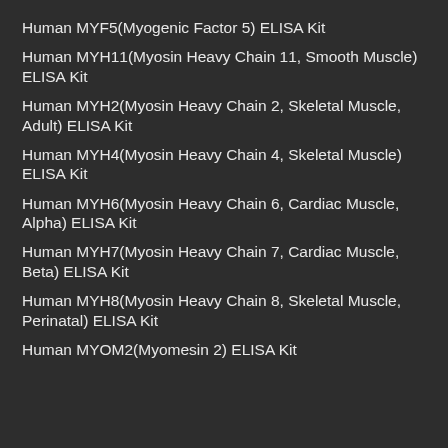Human MYF5(Myogenic Factor 5) ELISA Kit
Human MYH11(Myosin Heavy Chain 11, Smooth Muscle) ELISA Kit
Human MYH2(Myosin Heavy Chain 2, Skeletal Muscle, Adult) ELISA Kit
Human MYH4(Myosin Heavy Chain 4, Skeletal Muscle) ELISA Kit
Human MYH6(Myosin Heavy Chain 6, Cardiac Muscle, Alpha) ELISA Kit
Human MYH7(Myosin Heavy Chain 7, Cardiac Muscle, Beta) ELISA Kit
Human MYH8(Myosin Heavy Chain 8, Skeletal Muscle, Perinatal) ELISA Kit
Human MYOM2(Myomesin 2) ELISA Kit